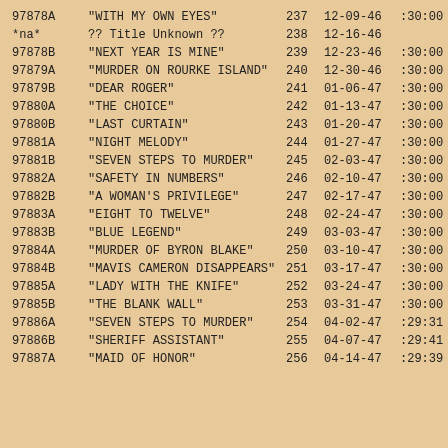| ID | Title | # | Date | Duration | Notes |
| --- | --- | --- | --- | --- | --- |
| 97878A | "WITH MY OWN EYES" | 237 | 12-09-46 | :30:00 |  |
| *na* | ?? Title Unknown ?? | 238 | 12-16-46 |  |  |
| 97878B | "NEXT YEAR IS MINE" | 239 | 12-23-46 | :30:00 | Frank Lov |
| 97879A | "MURDER ON ROURKE ISLAND" | 240 | 12-30-46 | :30:00 |  |
| 97879B | "DEAR ROGER" | 241 | 01-06-47 | :30:00 |  |
| 97880A | "THE CHOICE" | 242 | 01-13-47 | :30:00 |  |
| 97880B | "LAST CURTAIN" | 243 | 01-20-47 | :30:00 |  |
| 97881A | "NIGHT MELODY" | 244 | 01-27-47 | :30:00 |  |
| 97881B | "SEVEN STEPS TO MURDER" | 245 | 02-03-47 | :30:00 | William C |
| 97882A | "SAFETY IN NUMBERS" | 246 | 02-10-47 | :30:00 |  |
| 97882B | "A WOMAN'S PRIVILEGE" | 247 | 02-17-47 | :30:00 |  |
| 97883A | "EIGHT TO TWELVE" | 248 | 02-24-47 | :30:00 |  |
| 97883B | "BLUE LEGEND" | 249 | 03-03-47 | :30:00 |  |
| 97884A | "MURDER OF BYRON BLAKE" | 250 | 03-10-47 | :30:00 | Betty Lou |
| 97884B | "MAVIS CAMERON DISAPPEARS" | 251 | 03-17-47 | :30:00 |  |
| 97885A | "LADY WITH THE KNIFE" | 252 | 03-24-47 | :30:00 |  |
| 97885B | "THE BLANK WALL" | 253 | 03-31-47 | :30:00 |  |
| 97886A | "SEVEN STEPS TO MURDER" | 254 | 04-02-47 | :29:31 |  |
| 97886B | "SHERIFF ASSISTANT" | 255 | 04-07-47 | :29:41 |  |
| 97887A | "MAID OF HONOR" | 256 | 04-14-47 | :29:39 |  |